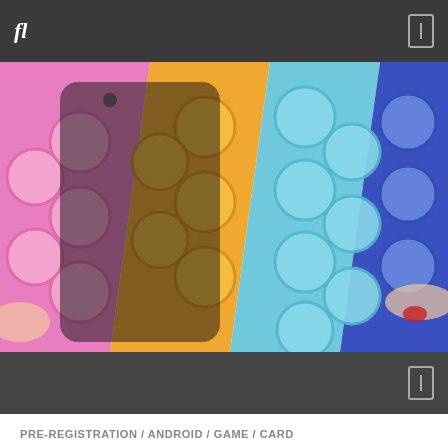fl
[Figure (photo): Colorful pop-it phone case held in hands, showing pink, yellow, light blue, and dark blue bubble sections]
PRE-REGISTRATION / ANDROID / GAME / CARD
mod apk getting over it□MOD APK (Unlimited Money) v4.4.2□
[Figure (screenshot): Dark thumbnail image showing a partial figure or character silhouette against a dark background]